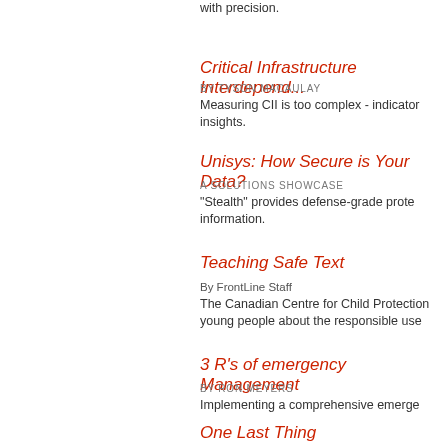with precision.
Critical Infrastructure Interdepend...
BY TYSON MACAULAY
Measuring CII is too complex - indicator insights.
Unisys: How Secure is Your Data?
A SOLUTIONS SHOWCASE
"Stealth" provides defense-grade prote information.
Teaching Safe Text
By FrontLine Staff
The Canadian Centre for Child Protection young people about the responsible use
3 R's of emergency Management
BY RON MEYERS
Implementing a comprehensive emerge
One Last Thing